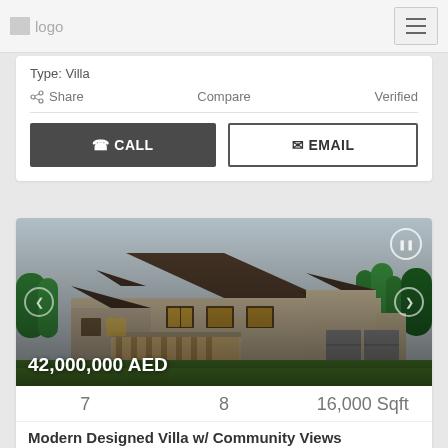logo | hamburger menu
Type: Villa
Share   Compare   Verified
CALL | EMAIL
[Figure (photo): Exterior photo of a large luxury villa/house at dusk with stone facade, multiple gabled roofs, lit windows, and landscaped lawn]
42,000,000 AED
7   8   16,000 Sqft
Modern Designed Villa w/ Community Views
District One | Dubai